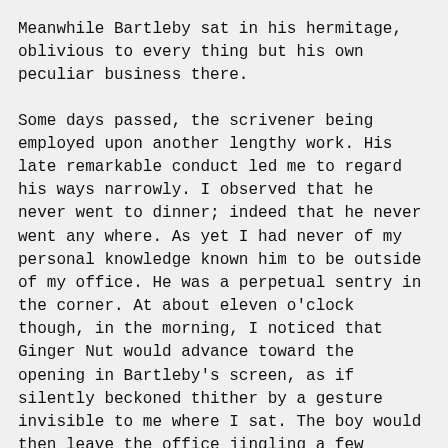Meanwhile Bartleby sat in his hermitage, oblivious to every thing but his own peculiar business there.
Some days passed, the scrivener being employed upon another lengthy work. His late remarkable conduct led me to regard his ways narrowly. I observed that he never went to dinner; indeed that he never went any where. As yet I had never of my personal knowledge known him to be outside of my office. He was a perpetual sentry in the corner. At about eleven o'clock though, in the morning, I noticed that Ginger Nut would advance toward the opening in Bartleby's screen, as if silently beckoned thither by a gesture invisible to me where I sat. The boy would then leave the office jingling a few pence, and reappear with a handful of ginger-nuts which he delivered in the hermitage, receiving two of the cakes for his trouble.